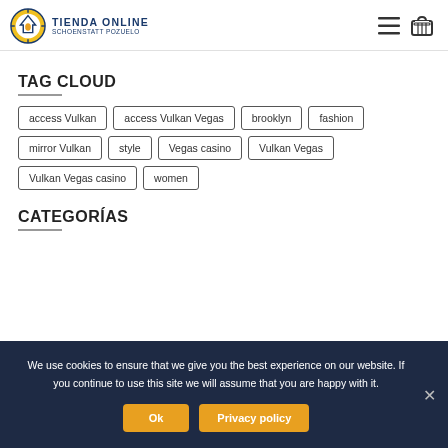[Figure (logo): Tienda Online Schoenstatt Pozuelo logo with circular icon]
TAG CLOUD
access Vulkan
access Vulkan Vegas
brooklyn
fashion
mirror Vulkan
style
Vegas casino
Vulkan Vegas
Vulkan Vegas casino
women
CATEGORÍAS
We use cookies to ensure that we give you the best experience on our website. If you continue to use this site we will assume that you are happy with it.